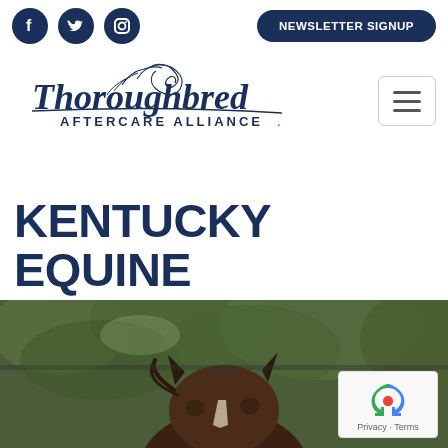[Figure (logo): Social media icons: Facebook, Twitter, Instagram (dark navy circles)]
[Figure (logo): Newsletter Signup button - dark navy rounded rectangle with white text]
[Figure (logo): Thoroughbred Aftercare Alliance logo with horse silhouette and text]
[Figure (other): Hamburger menu button with three horizontal lines]
KENTUCKY EQUINE ADOPTION CENTER
[Figure (photo): Close-up photo of a horse's head/face from behind, showing ears, with green foliage background]
[Figure (other): reCAPTCHA badge with Privacy - Terms text]